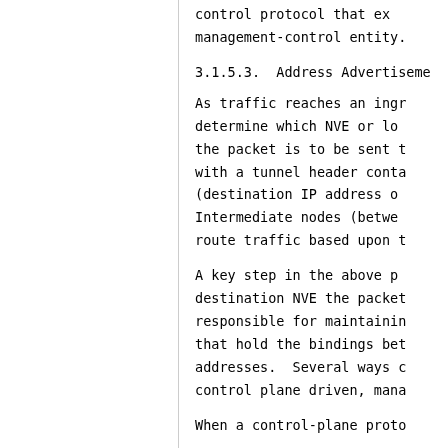control protocol that ex... management-control entity.
3.1.5.3.  Address Advertiseme...
As traffic reaches an ingr... determine which NVE or lo... the packet is to be sent t... with a tunnel header conta... (destination IP address o... Intermediate nodes (betwe... route traffic based upon t...
A key step in the above p... destination NVE the packet... responsible for maintainin... that hold the bindings bet... addresses.  Several ways c... control plane driven, mana...
When a control-plane proto...